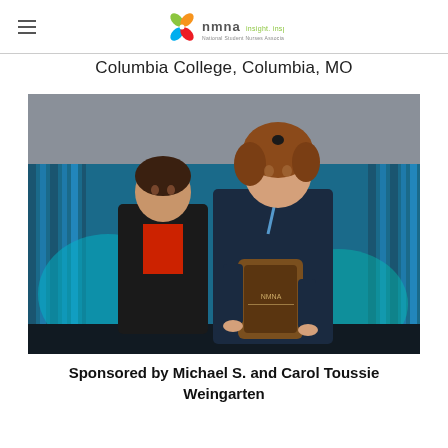NMNA — Insight. Inspiration. Ingenuity.
Columbia College, Columbia, MO
[Figure (photo): Two women standing together on a stage with blue curtain backdrop. The woman on the right is holding a wooden award plaque with an NMNA logo. Both are smiling at the camera.]
Sponsored by Michael S. and Carol Toussie Weingarten